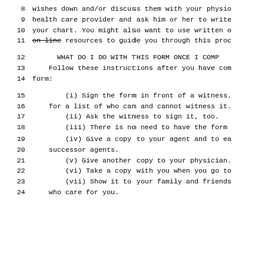8   wishes down and/or discuss them with your physio
9   health care provider and ask him or her to write
10  your chart. You might also want to use written o
11  on line resources to guide you through this proc
12  WHAT DO I DO WITH THIS FORM ONCE I COMP
13  Follow these instructions after you have com
14  form:
15  (i) Sign the form in front of a witness.
16  for a list of who can and cannot witness it.
17  (ii) Ask the witness to sign it, too.
18  (iii) There is no need to have the form
19  (iv) Give a copy to your agent and to ea
20  successor agents.
21  (v) Give another copy to your physician.
22  (vi) Take a copy with you when you go to
23  (vii) Show it to your family and friends
24  who care for you.